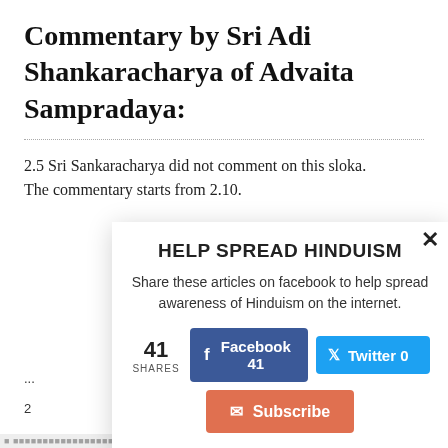Commentary by Sri Adi Shankaracharya of Advaita Sampradaya:
2.5 Sri Sankaracharya did not comment on this sloka. The commentary starts from 2.10.
[Figure (infographic): Modal popup overlay with title HELP SPREAD HINDUISM, descriptive text about sharing articles on facebook to help spread awareness of Hinduism on the internet, share count of 41, Facebook 41 button (dark blue), Twitter 0 button (light blue), Subscribe button (salmon/orange-red), and a close X button in the top right corner.]